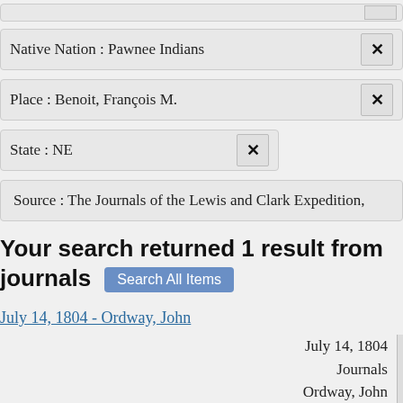Native Nation : Pawnee Indians
Place : Benoit, François M.
State : NE
Source : The Journals of the Lewis and Clark Expedition,
Your search returned 1 result from journals
July 14, 1804 - Ordway, John
July 14, 1804
Journals
Ordway, John